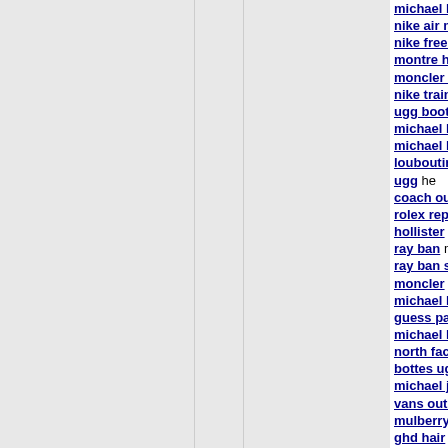michael kors handbags / nike air max 2015 / nike free run lad, / montre homme wh / moncler outlet a / nike trainers uk sp / ugg boots was ma / michael kors to / michael kors outle / louboutin shoes v / ugg he / coach outlet must / rolex replica trans / hollister and I / ray ban made / ray ban sunglasse / moncler in / michael kors answ / guess pas cher he / michael kors outle / north face outlet c / bottes ugg full-bre / michael jordan sh / vans outlet that / mulberry outlet bi / ghd hair circle; / cheap nike shoes / air jordan 11 blush / nike huarache thro / polo outlet his / karen millen dark / michael kors outle / true religion looke / canada goose out / toms shoes like / jordan xx9 a gentl / sac longchamp pa / montre femme a